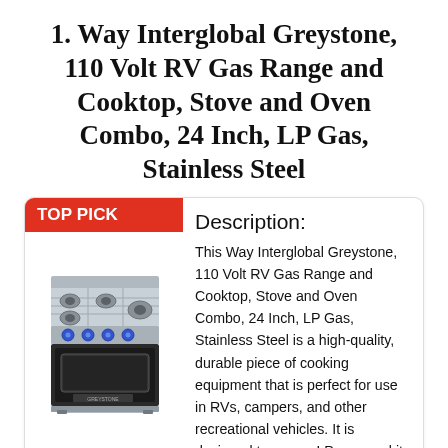1. Way Interglobal Greystone, 110 Volt RV Gas Range and Cooktop, Stove and Oven Combo, 24 Inch, LP Gas, Stainless Steel
[Figure (photo): Product photo of a stainless steel RV gas range and cooktop combo with blue knobs and black oven door]
Description:
This Way Interglobal Greystone, 110 Volt RV Gas Range and Cooktop, Stove and Oven Combo, 24 Inch, LP Gas, Stainless Steel is a high-quality, durable piece of cooking equipment that is perfect for use in RVs, campers, and other recreational vehicles. It is designed to run on LP gas, and it has a stainless steel finish that will look great in any setting. The